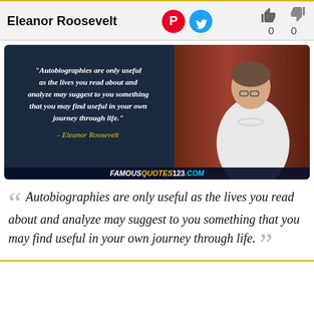Eleanor Roosevelt
[Figure (illustration): Quote image with dark navy background on left showing italic quote text and Eleanor Roosevelt attribution in yellow, and a photo of Eleanor Roosevelt on the right against a red curtain background. Bottom watermark reads FAMOUSQUOTES123.COM]
“ Autobiographies are only useful as the lives you read about and analyze may suggest to you something that you may find useful in your own journey through life. ”